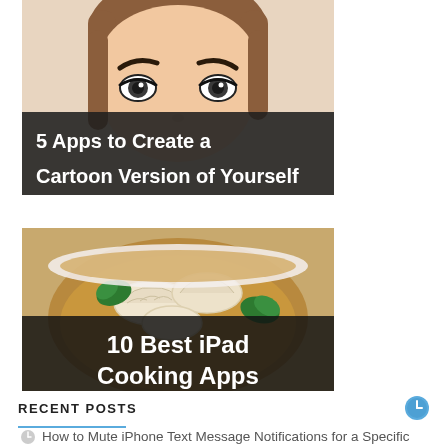[Figure (illustration): Cartoon illustration of a woman's face with brown hair, showing forehead and eyes only, with a dark semi-transparent overlay at the bottom containing the title text '5 Apps to Create a Cartoon Version of Yourself']
5 Apps to Create a Cartoon Version of Yourself
[Figure (photo): Photo of Chinese dumplings/wontons in broth with spinach in a white bowl, with a dark semi-transparent overlay at the bottom containing the title text '10 Best iPad Cooking Apps']
10 Best iPad Cooking Apps
RECENT POSTS
How to Mute iPhone Text Message Notifications for a Specific Contact